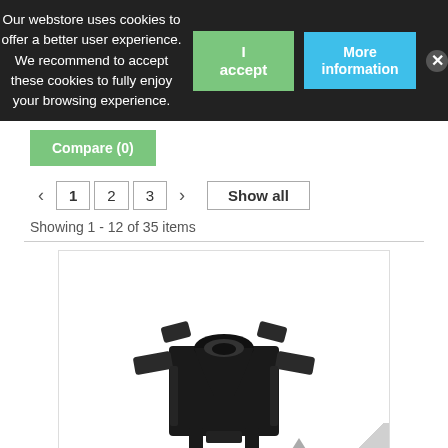Our webstore uses cookies to offer a better user experience. We recommend to accept these cookies to fully enjoy your browsing experience.
Compare (0)
< 1 2 3 > Show all
Showing 1 - 12 of 35 items
[Figure (photo): Black plastic automotive clip/fastener with square base and cylindrical center socket, photographed on white background]